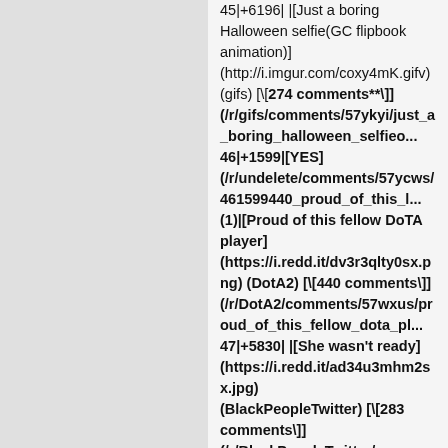45|+6196| |[Just a boring Halloween selfie(GC flipbook animation)](http://i.imgur.com/coxy4mK.gifv) (gifs) [\[**274 comments**\]] (/r/gifs/comments/57ykyi/just_a_boring_halloween_selfieo... 46|+1599|**[YES] (/r/undelete/comments/57ycws/461599440_proud_of_this_... (1)|[Proud of this fellow DoTA player] (https://i.redd.it/dv3r3qlty0sx.png) (DotA2) [\[**440 comments**\]] (/r/DotA2/comments/57wxus/proud_of_this_fellow_dota_pl... 47|+5830| |[She wasn't ready] (https://i.redd.it/ad34u3mhm2sx.jpg) (BlackPeopleTwitter) [\[**283 comments**\]] (/r/BlackPeopleTwitter/comments/57yner/she_wasnt_ready... 48|+2389| |[NO! okay I got this- I can do this. Come on! YES! "oh, let's break it d"- NOOO!] (https://gfycat.com/SimpleDenseCutworm) (Overwatch) [\[**56 comments**\]] (/r/Overwatch/comments/5808fu/no_okay_i_got_this_i_can_d... 49|+1787| |[South Carolina is trying to quietly pass new abortion restrictions. Public comments are being taken until October 24.]